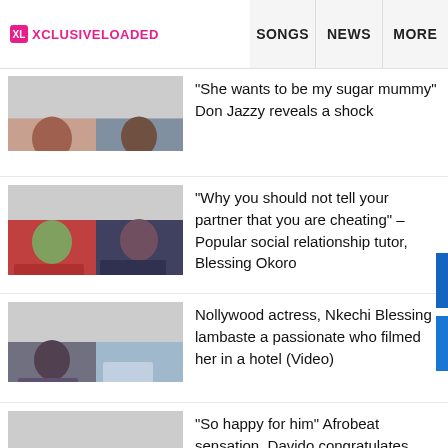XL XCLUSIVELOADED | SONGS | NEWS | MORE
"She wants to be my sugar mummy" Don Jazzy reveals a shock
"Why you should not tell your partner that you are cheating" – Popular social relationship tutor, Blessing Okoro
Nollywood actress, Nkechi Blessing lambaste a passionate who filmed her in a hotel (Video)
"So happy for him" Afrobeat sensation, Davido congratulates Mavin Record Label new signee
Don Jazzy signs a new music star, Bayanni to Mavin Record Label and unveils him